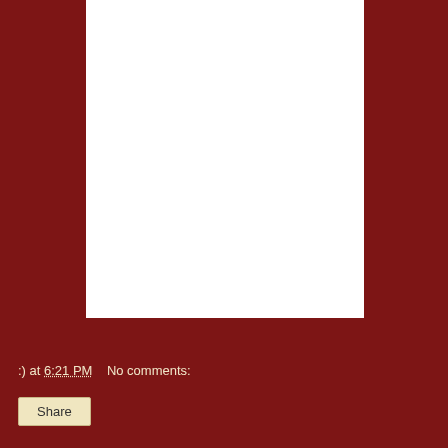[Figure (other): White rectangular panel on dark red background, appearing to be a blank or mostly blank document/image area.]
:) at 6:21 PM   No comments:
Share